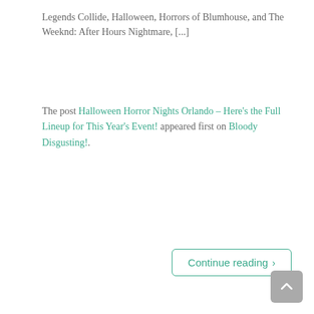Legends Collide, Halloween, Horrors of Blumhouse, and The Weeknd: After Hours Nightmare, [...]
The post Halloween Horror Nights Orlando – Here's the Full Lineup for This Year's Event! appeared first on Bloody Disgusting!.
Continue reading ›
5 of This Week's Coolest Horror Collectibles Including a New 'Phantasm' Blu-ray Collection